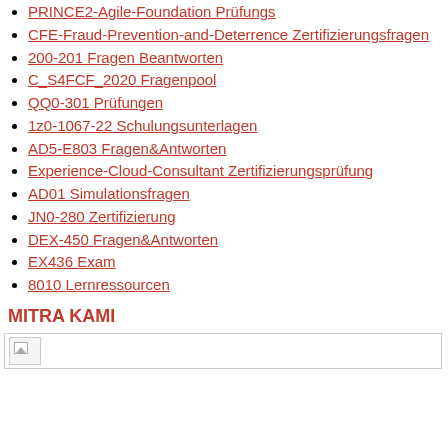PRINCE2-Agile-Foundation Prüfungs
CFE-Fraud-Prevention-and-Deterrence Zertifizierungsfragen
200-201 Fragen Beantworten
C_S4FCF_2020 Fragenpool
QQ0-301 Prüfungen
1z0-1067-22 Schulungsunterlagen
AD5-E803 Fragen&Antworten
Experience-Cloud-Consultant Zertifizierungsprüfung
AD01 Simulationsfragen
JN0-280 Zertifizierung
DEX-450 Fragen&Antworten
EX436 Exam
8010 Lernressourcen
MITRA KAMI
[Figure (other): Broken image placeholder in a bordered bar]